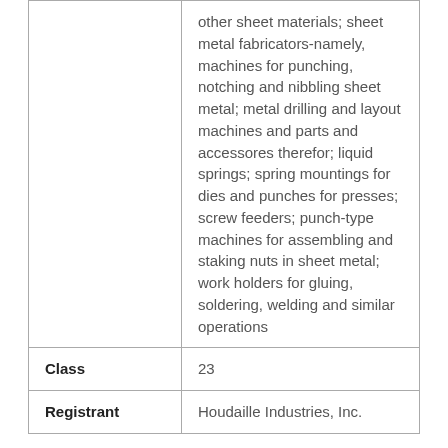|  | other sheet materials; sheet metal fabricators-namely, machines for punching, notching and nibbling sheet metal; metal drilling and layout machines and parts and accessores therefor; liquid springs; spring mountings for dies and punches for presses; screw feeders; punch-type machines for assembling and staking nuts in sheet metal; work holders for gluing, soldering, welding and similar operations |
| Class | 23 |
| Registrant | Houdaille Industries, Inc. |